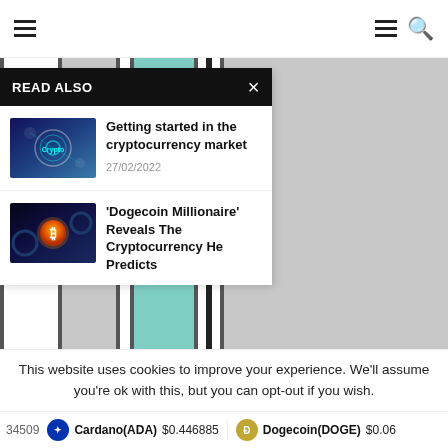Navigation bar with hamburger menu and search icon
[Figure (screenshot): Website background showing vertical column layout with gray and teal colored columns]
READ ALSO
[Figure (photo): Cryptocurrency themed image with circular blockchain graphics in blue tones]
Getting started in the cryptocurrency market
27/02/2022
[Figure (photo): Dogecoin themed image with glowing Bitcoin logo on dark blue background]
'Dogecoin Millionaire' Reveals The Cryptocurrency He Predicts
This website uses cookies to improve your experience. We'll assume you're ok with this, but you can opt-out if you wish.
34509  Cardano(ADA) $0.446885  Dogecoin(DOGE) $0.06